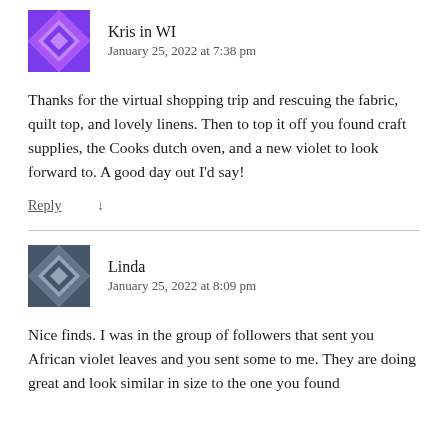[Figure (illustration): Purple geometric quilt-pattern avatar icon for Kris in WI]
Kris in WI
January 25, 2022 at 7:38 pm
Thanks for the virtual shopping trip and rescuing the fabric, quilt top, and lovely linens. Then to top it off you found craft supplies, the Cooks dutch oven, and a new violet to look forward to. A good day out I'd say!
Reply ↓
[Figure (illustration): Blue/grey geometric quilt-pattern avatar icon for Linda]
Linda
January 25, 2022 at 8:09 pm
Nice finds. I was in the group of followers that sent you African violet leaves and you sent some to me. They are doing great and look similar in size to the one you found